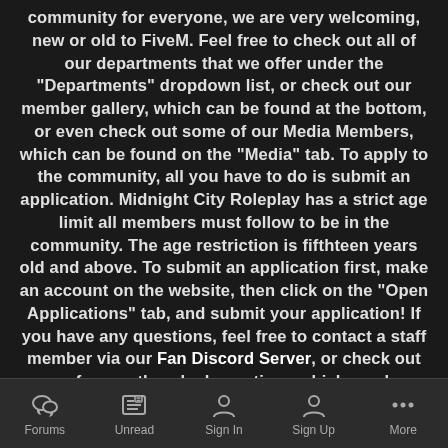community for everyone, we are very welcoming, new or old to FiveM. Feel free to check out all of our departments that we offer under the "Departments" dropdown list, or check out our member gallery, which can be found at the bottom, or even check out some of our Media Members, which can be found on the "Media" tab. To apply to the community, all you have to do is submit an application. Midnight City Roleplay has a strict age limit all members must follow to be in the community. The age restriction is fifthteen years old and above. To submit an application first, make an account on the website, then click on the "Open Applications" tab, and submit your application! If you have any questions, feel free to contact a staff member via our Fan Discord Server, or check out our frequently asked questions which can be located under the "Resources" dropdown on the website. Good luck with your application!
Forums | Unread | Sign In | Sign Up | More